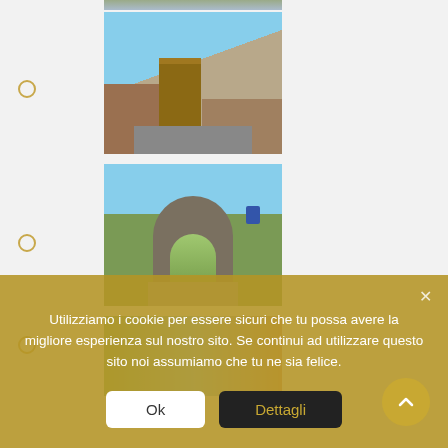[Figure (photo): Top partial photo of a scene, cropped at very top]
Photo of medieval street with tower and stone walls
[Figure (photo): Medieval street scene with a brick/stone tower and old building facades, narrow road]
Photo of a stone arch gate with road through it and green vegetation
[Figure (photo): Stone arch gate with road passing through, green trees and blue sign visible]
Partial photo of trees and building
[Figure (photo): Partial photo showing trees and orange/terracotta building facade]
Partial photo at bottom
[Figure (photo): Partial photo at very bottom of page]
Utilizziamo i cookie per essere sicuri che tu possa avere la migliore esperienza sul nostro sito. Se continui ad utilizzare questo sito noi assumiamo che tu ne sia felice.